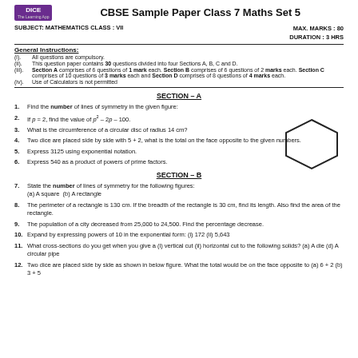CBSE Sample Paper Class 7 Maths Set 5
SUBJECT: MATHEMATICS CLASS : VII    MAX. MARKS : 80    DURATION : 3 HRS
General Instructions:
(i). All questions are compulsory.
(ii). This question paper contains 30 questions divided into four Sections A, B, C and D.
(iii). Section A comprises of 6 questions of 1 mark each. Section B comprises of 6 questions of 2 marks each. Section C comprises of 10 questions of 3 marks each and Section D comprises of 8 questions of 4 marks each.
(iv). Use of Calculators is not permitted
SECTION – A
1. Find the number of lines of symmetry in the given figure:
[Figure (illustration): Regular hexagon outline]
2. If p = 2, find the value of p² – 2p – 100.
3. What is the circumference of a circular disc of radius 14 cm?
4. Two dice are placed side by side with 5 + 2, what is the total on the face opposite to the given numbers.
5. Express 3125 using exponential notation.
6. Express 540 as a product of powers of prime factors.
SECTION – B
7. State the number of lines of symmetry for the following figures: (a) A square (b) A rectangle
8. The perimeter of a rectangle is 130 cm. If the breadth of the rectangle is 30 cm, find its length. Also find the area of the rectangle.
9. The population of a city decreased from 25,000 to 24,500. Find the percentage decrease.
10. Expand by expressing powers of 10 in the exponential form: (i) 172 (ii) 5,643
11. What cross-sections do you get when you give a (i) vertical cut (ii) horizontal cut to the following solids? (a) A die (d) A circular pipe
12. Two dice are placed side by side as shown in below figure. What the total would be on the face opposite to (a) 6 + 2 (b) 3 + 5